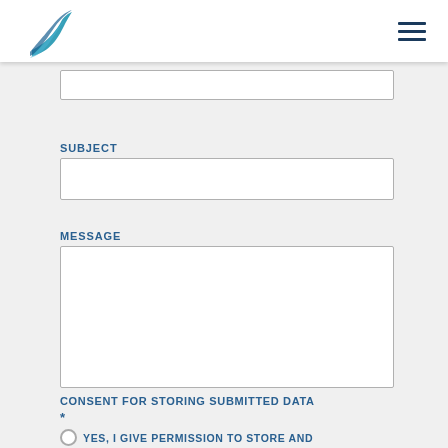Navigation header with logo and hamburger menu
SUBJECT
MESSAGE
CONSENT FOR STORING SUBMITTED DATA *
YES, I GIVE PERMISSION TO STORE AND